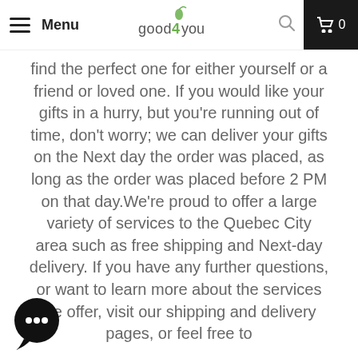Menu | good4you | 0
find the perfect one for either yourself or a friend or loved one. If you would like your gifts in a hurry, but you’re running out of time, don’t worry; we can deliver your gifts on the Next day the order was placed, as long as the order was placed before 2 PM on that day.We’re proud to offer a large variety of services to the Quebec City area such as free shipping and Next-day delivery. If you have any further questions, or want to learn more about the services we offer, visit our shipping and delivery pages, or feel free to
[Figure (illustration): Chat bubble icon with three dots, indicating a live chat feature]